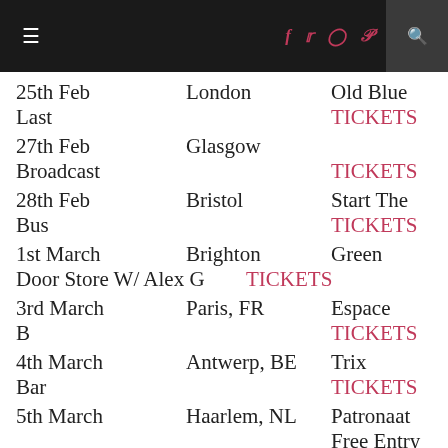Navigation bar with hamburger menu, social icons (f, twitter, instagram, pinterest), and search
25th Feb | London | Old Blue Last | TICKETS
27th Feb | Glasgow | Broadcast | TICKETS
28th Feb | Bristol | Start The Bus | TICKETS
1st March | Brighton | Green Door Store W/ Alex G | TICKETS
3rd March | Paris, FR | Espace B | TICKETS
4th March | Antwerp, BE | Trix Bar | TICKETS
5th March | Haarlem, NL | Patronaat | Free Entry
6th March | Zeewolde, NL | Where The Wild Things Are | TICKETS